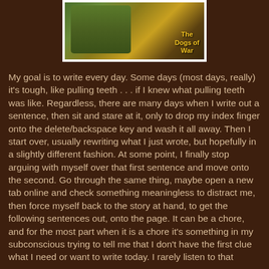[Figure (illustration): Comic book cover or illustration showing a military/war scene with a soldier figure in green camouflage, titled 'The Dogs of War' in yellow text]
My goal is to write every day.  Some days (most days, really) it's tough, like pulling teeth . . . if I knew what pulling teeth was like.  Regardless, there are many days when I write out a sentence, then sit and stare at it, only to drop my index finger onto the delete/backspace key and wash it all away.  Then I start over, usually rewriting what I just wrote, but hopefully in a slightly different fashion.  At some point, I finally stop arguing with myself over that first sentence and move onto the second.  Go through the same thing, maybe open a new tab online and check something meaningless to distract me, then force myself back to the story at hand, to get the following sentences out, onto the page.  It can be a chore, and for the most part when it is a chore it's something in my subconscious trying to tell me that I don't have the first clue what I need or want to write today.  I rarely listen to that